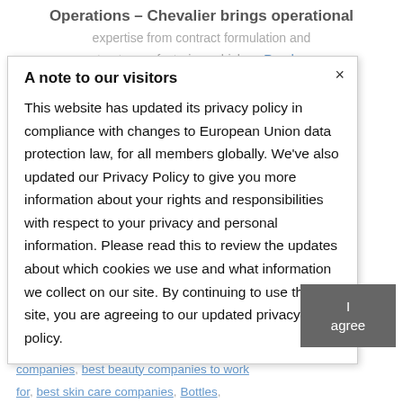Operations – Chevalier brings operational expertise from contract formulation and contract manufacturing, which … Read more
A note to our visitors
This website has updated its privacy policy in compliance with changes to European Union data protection law, for all members globally. We've also updated our Privacy Policy to give you more information about your rights and responsibilities with respect to your privacy and personal information. Please read this to review the updates about which cookies we use and what information we collect on our site. By continuing to use this site, you are agreeing to our updated privacy policy.
I agree
beauty companies in New York, beauty magazine, Beauty pack, Beauty package design, beauty packaging companies, beauty packaging, beauty, beauty packaging magazine, Beauty packaging.com, beauty product companies, beautypackaging.com, best beauty companies, best beauty companies to work for, best skin care companies, Bottles,